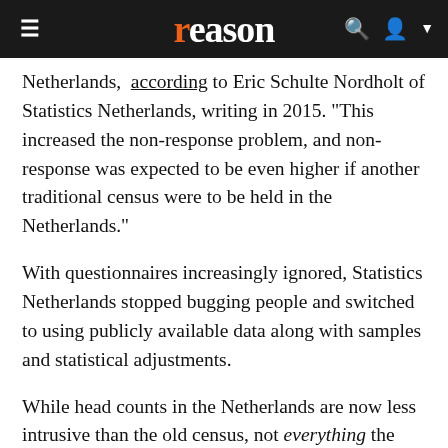reason
Netherlands, according to Eric Schulte Nordholt of Statistics Netherlands, writing in 2015. "This increased the non-response problem, and non-response was expected to be even higher if another traditional census were to be held in the Netherlands."
With questionnaires increasingly ignored, Statistics Netherlands stopped bugging people and switched to using publicly available data along with samples and statistical adjustments.
While head counts in the Netherlands are now less intrusive than the old census, not everything the Dutch do translates to the American context. Statistics Netherlands relies on standardized population registers that don't exist in the United States, and would be difficult—justifiably so, I think—to impose on a mobile and distrustful population. People worried about the abuse of data collected every 10